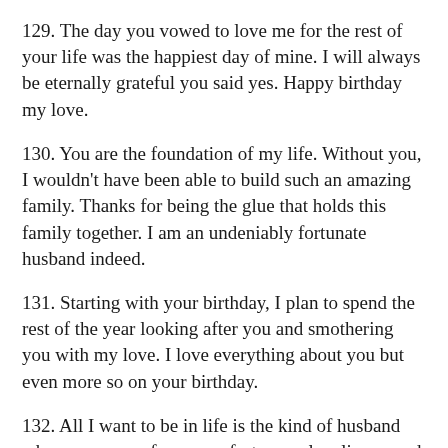129. The day you vowed to love me for the rest of your life was the happiest day of mine. I will always be eternally grateful you said yes. Happy birthday my love.
130. You are the foundation of my life. Without you, I wouldn't have been able to build such an amazing family. Thanks for being the glue that holds this family together. I am an undeniably fortunate husband indeed.
131. Starting with your birthday, I plan to spend the rest of the year looking after you and smothering you with my love. I love everything about you but even more so on your birthday.
132. All I want to be in life is the kind of husband who erases your fears, comforts your loneliness, and cherishes your love. You are a priceless treasure that I intend to protect for eternity. Happy birthday to my wife who completes me.